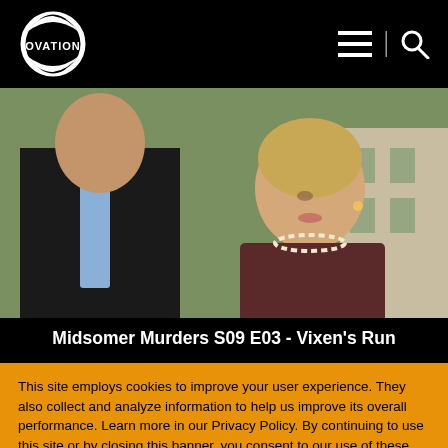OVATION
[Figure (photo): Two people outdoors near a building — a man in a dark suit with a blue tie seen from behind/side, and a woman with blonde hair wearing a dark maroon top and pearl necklace, looking to the side.]
Midsomer Murders S09 E03 - Vixen's Run
This site employs cookies to improve your user experience. They also collect and analyze information to help us improve its overall performance. Learn more in our Privacy Policy. By continuing to use this site or by closing this banner, you consent to our use of these cookies.
LEARN MORE
ACCEPT